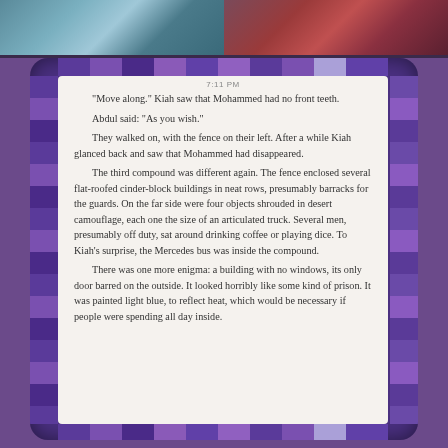[Figure (photo): Top portion showing two image thumbnails side by side - left appears to be a teal/blue colored image, right appears to be a red/dark colored image]
[Figure (screenshot): E-reader/tablet device with purple tile border showing a book reading app with white screen displaying text from a novel. Time shown is 7:11 PM.]
“Move along.” Kiah saw that Mohammed had no front teeth.
Abdul said: "As you wish."
They walked on, with the fence on their left. After a while Kiah glanced back and saw that Mohammed had disappeared.
The third compound was different again. The fence enclosed several flat-roofed cinder-block buildings in neat rows, presumably barracks for the guards. On the far side were four objects shrouded in desert camouflage, each one the size of an articulated truck. Several men, presumably off duty, sat around drinking coffee or playing dice. To Kiah’s surprise, the Mercedes bus was inside the compound.
There was one more enigma: a building with no windows, its only door barred on the outside. It looked horribly like some kind of prison. It was painted light blue, to reflect heat, which would be necessary if people were spending all day inside.